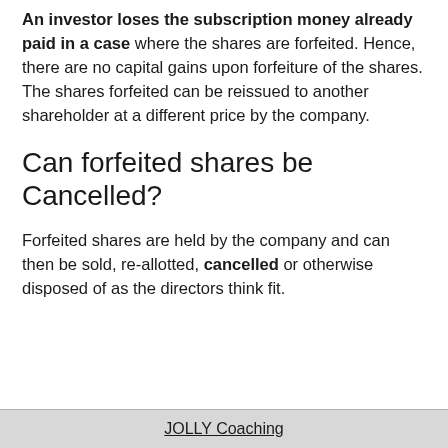An investor loses the subscription money already paid in a case where the shares are forfeited. Hence, there are no capital gains upon forfeiture of the shares. The shares forfeited can be reissued to another shareholder at a different price by the company.
Can forfeited shares be Cancelled?
Forfeited shares are held by the company and can then be sold, re-allotted, cancelled or otherwise disposed of as the directors think fit.
JOLLY Coaching